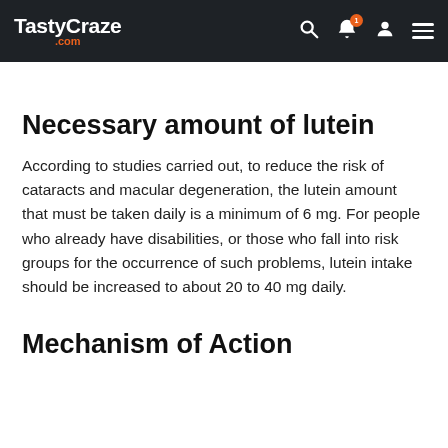TastyCraze.com
Necessary amount of lutein
According to studies carried out, to reduce the risk of cataracts and macular degeneration, the lutein amount that must be taken daily is a minimum of 6 mg. For people who already have disabilities, or those who fall into risk groups for the occurrence of such problems, lutein intake should be increased to about 20 to 40 mg daily.
Mechanism of Action